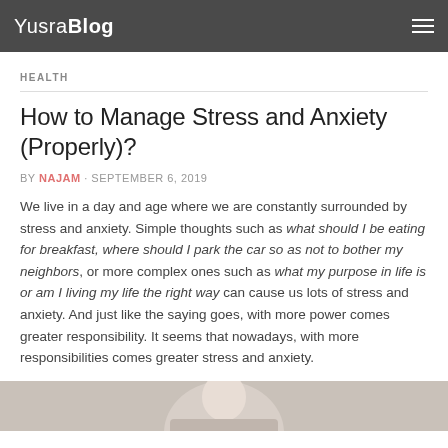YusraBlog
HEALTH
How to Manage Stress and Anxiety (Properly)?
BY NAJAM · SEPTEMBER 6, 2019
We live in a day and age where we are constantly surrounded by stress and anxiety. Simple thoughts such as what should I be eating for breakfast, where should I park the car so as not to bother my neighbors, or more complex ones such as what my purpose in life is or am I living my life the right way can cause us lots of stress and anxiety. And just like the saying goes, with more power comes greater responsibility. It seems that nowadays, with more responsibilities comes greater stress and anxiety.
[Figure (photo): Partial photo at bottom of page, appears to show a person]